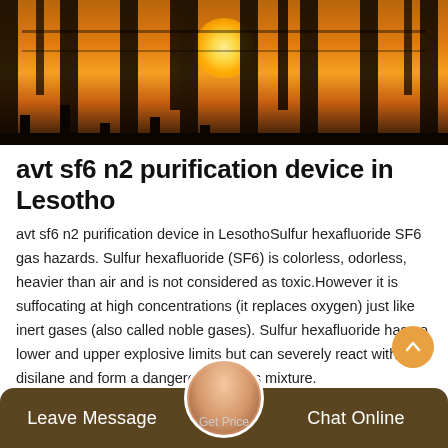[Figure (photo): Industrial silhouette scene at sunset with power line structures against an orange/golden sky with bright sun visible]
avt sf6 n2 purification device in Lesotho
avt sf6 n2 purification device in LesothoSulfur hexafluoride SF6 gas hazards. Sulfur hexafluoride (SF6) is colorless, odorless, heavier than air and is not considered as toxic.However it is suffocating at high concentrations (it replaces oxygen) just like inert gases (also called noble gases). Sulfur hexafluoride has no lower and upper explosive limits but can severely react with disilane and form a dangerous explosive gas mixture.
Leave Message   Chat Online